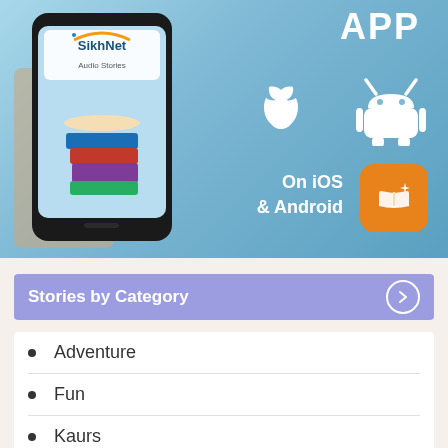[Figure (screenshot): SikhNet Audio Stories app advertisement banner showing a hand holding a smartphone with the SikhNet Audio Stories app open (displaying stacked colorful books). Text reads 'APP', 'On iOS & Android' with Apple and Android logos and an orange book app icon.]
Stories by Category
Adventure
Fun
Kaurs